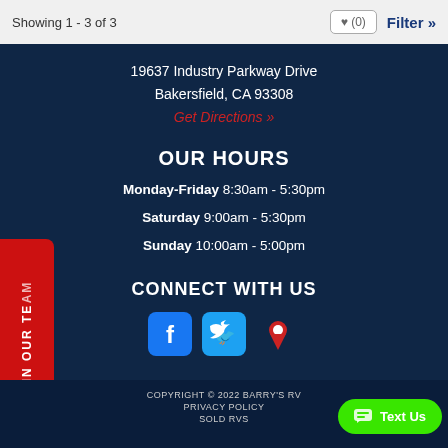Showing 1 - 3 of 3
19637 Industry Parkway Drive
Bakersfield, CA 93308
Get Directions »
OUR HOURS
Monday-Friday 8:30am - 5:30pm
Saturday 9:00am - 5:30pm
Sunday 10:00am - 5:00pm
CONNECT WITH US
[Figure (infographic): Social media icons: Facebook, Twitter, and map/location pin icons]
JOIN OUR TEAM
COPYRIGHT © 2022 BARRY'S RV | PRIVACY POLICY | SOLD RVS